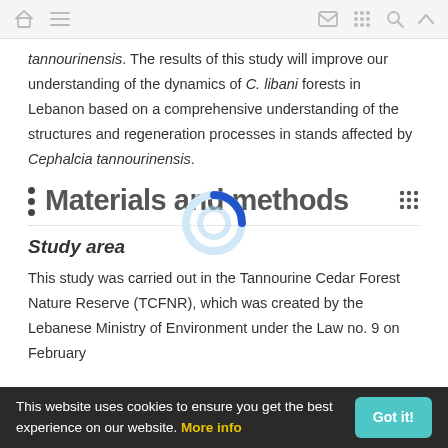[navigation icons: home, menu, mail, grid, search, up]
tannourinensis. The results of this study will improve our understanding of the dynamics of C. libani forests in Lebanon based on a comprehensive understanding of the structures and regeneration processes in stands affected by Cephalcia tannourinensis.
Materials and methods
Study area
This study was carried out in the Tannourine Cedar Forest Nature Reserve (TCFNR), which was created by the Lebanese Ministry of Environment under the Law no. 9 on February
This website uses cookies to ensure you get the best experience on our website. More info